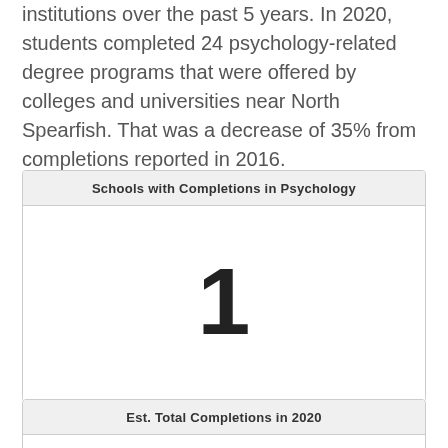institutions over the past 5 years. In 2020, students completed 24 psychology-related degree programs that were offered by colleges and universities near North Spearfish. That was a decrease of 35% from completions reported in 2016.
| Schools with Completions in Psychology |
| --- |
| 1 |
| Est. Total Completions in 2020 |
| --- |
|  |